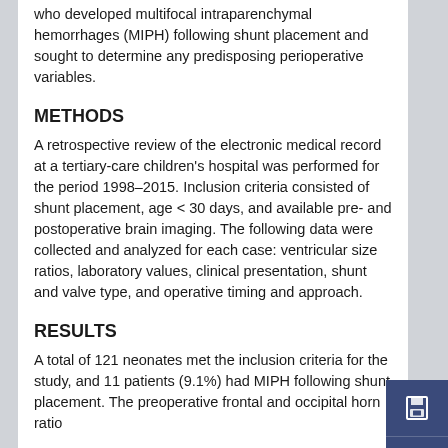who developed multifocal intraparenchymal hemorrhages (MIPH) following shunt placement and sought to determine any predisposing perioperative variables.
METHODS
A retrospective review of the electronic medical record at a tertiary-care children's hospital was performed for the period 1998–2015. Inclusion criteria consisted of shunt placement, age < 30 days, and available pre- and postoperative brain imaging. The following data were collected and analyzed for each case: ventricular size ratios, laboratory values, clinical presentation, shunt and valve type, and operative timing and approach.
RESULTS
A total of 121 neonates met the inclusion criteria for the study, and 11 patients (9.1%) had MIPH following shunt placement. The preoperative frontal and occipital horn ratio